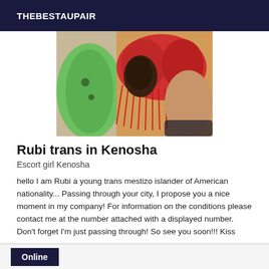THEBESTAUPAIR
[Figure (photo): Photo showing colorful lingerie items including a red fringed bra/top and green garment]
Rubi trans in Kenosha
Escort girl Kenosha
hello I am Rubi a young trans mestizo islander of American nationality... Passing through your city, I propose you a nice moment in my company! For information on the conditions please contact me at the number attached with a displayed number. Don't forget I'm just passing through! So see you soon!!! Kiss
Online